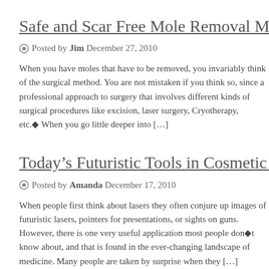Safe and Scar Free Mole Removal Methods
Posted by Jim  December 27, 2010
When you have moles that have to be removed, you invariably think of the surgical method. You are not mistaken if you think so, since a professional approach to mole removal is surgery that involves different kinds of surgical procedures like excision, laser surgery, Cryotherapy, etc.◆ When you go little deeper into […]
Today's Futuristic Tools in Cosmetic Procedures
Posted by Amanda  December 17, 2010
When people first think about lasers they often conjure up images of futuristic lasers, pointers for presentations, or sights on guns. However, there is one very useful application most people don◆t know about, and that is found in the ever-changing landscape of medicine. Many people are taken by surprise when they […]